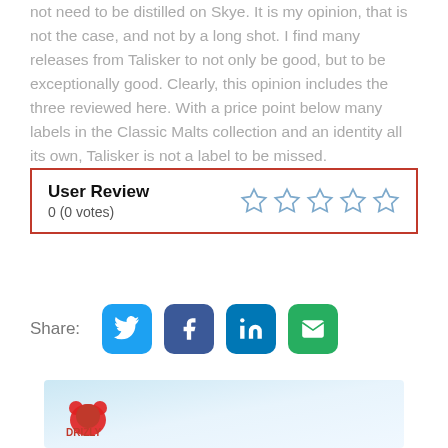not need to be distilled on Skye. It is my opinion, that is not the case, and not by a long shot. I find many releases from Talisker to not only be good, but to be exceptionally good. Clearly, this opinion includes the three reviewed here. With a price point below many labels in the Classic Malts collection and an identity all its own, Talisker is not a label to be missed.
User Review
0 (0 votes)
[Figure (infographic): Five empty/outline star icons for user rating]
Share:
[Figure (infographic): Social sharing buttons: Twitter, Facebook, LinkedIn, Email]
[Figure (infographic): Drizly banner advertisement with logo and sky background]